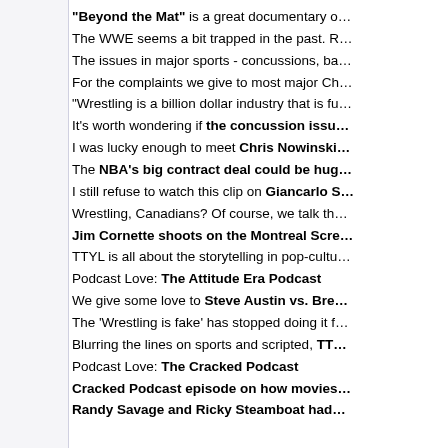"Beyond the Mat" is a great documentary o…
The WWE seems a bit trapped in the past. R…
The issues in major sports - concussions, ba…
For the complaints we give to most major Ch…
"Wrestling is a billion dollar industry that is fu…
It's worth wondering if the concussion issu…
I was lucky enough to meet Chris Nowinski…
The NBA's big contract deal could be hug…
I still refuse to watch this clip on Giancarlo S…
Wrestling, Canadians? Of course, we talk th…
Jim Cornette shoots on the Montreal Scre…
TTYL is all about the storytelling in pop-cultu…
Podcast Love: The Attitude Era Podcast
We give some love to Steve Austin vs. Bre…
The 'Wrestling is fake' has stopped doing it f…
Blurring the lines on sports and scripted, TT…
Podcast Love: The Cracked Podcast
Cracked Podcast episode on how movies…
Randy Savage and Ricky Steamboat had…